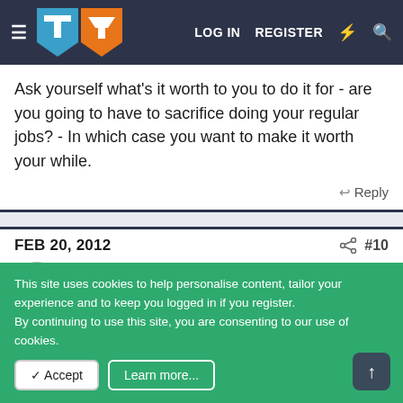LOG IN  REGISTER
Ask yourself what's it worth to you to do it for - are you going to have to sacrifice doing your regular jobs? - In which case you want to make it worth your while.
↩ Reply
FEB 20, 2012  #10
Matty H
This site uses cookies to help personalise content, tailor your experience and to keep you logged in if you register.
By continuing to use this site, you are consenting to our use of cookies.
✓ Accept  Learn more...